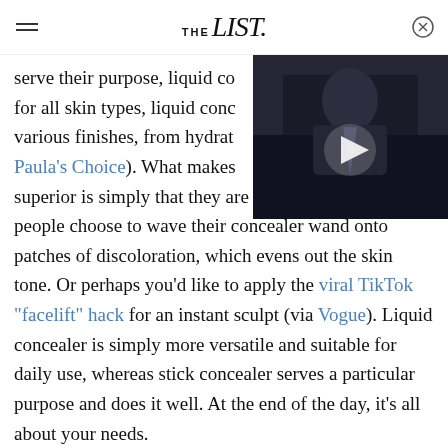THE list.
[Figure (screenshot): Video thumbnail showing a man in a suit with a play button overlay, positioned top-right of the page]
serve their purpose, liquid co for all skin types, liquid conc various finishes, from hydrat Paula's Choice). What makes superior is simply that they are multi-purpose. Some people choose to wave their concealer wand onto patches of discoloration, which evens out the skin tone. Or perhaps you'd like to apply the viral TikTok "facelift" hack for an instant sculpt (via Vogue). Liquid concealer is simply more versatile and suitable for daily use, whereas stick concealer serves a particular purpose and does it well. At the end of the day, it's all about your needs.